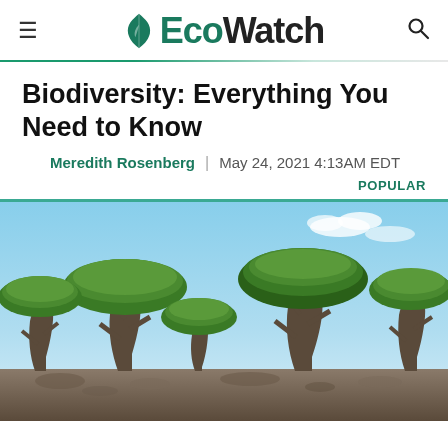EcoWatch
Biodiversity: Everything You Need to Know
Meredith Rosenberg | May 24, 2021 4:13AM EDT
POPULAR
[Figure (photo): Dragon blood trees (Dracaena cinnabari) on Socotra island with distinctive umbrella-shaped canopies against a blue sky, rocky ground in foreground]